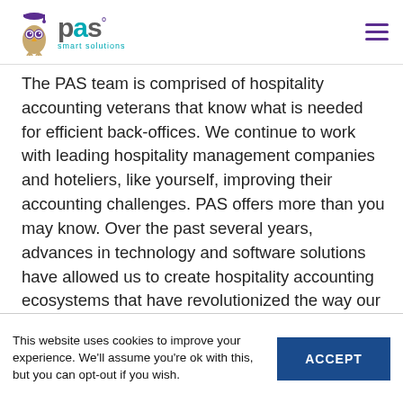pas smart solutions — navigation header
The PAS team is comprised of hospitality accounting veterans that know what is needed for efficient back-offices. We continue to work with leading hospitality management companies and hoteliers, like yourself, improving their accounting challenges. PAS offers more than you may know. Over the past several years, advances in technology and software solutions have allowed us to create hospitality accounting ecosystems that have revolutionized the way our clients operate.
[Figure (photo): Partial view of an image/photo section below the main text, showing a gray bar with a small image placeholder icon.]
This website uses cookies to improve your experience. We'll assume you're ok with this, but you can opt-out if you wish.